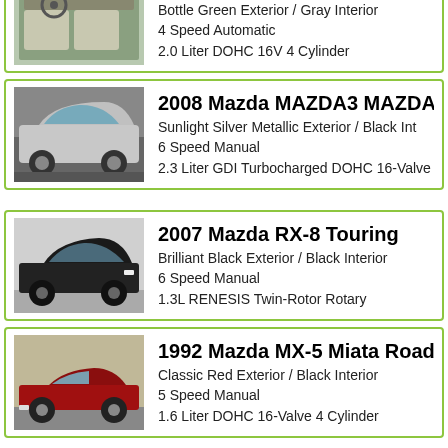[Figure (photo): Car interior/exterior photo for 2002 Mazda Protege LX]
2002 Mazda Protege LX
Bottle Green Exterior / Gray Interior
4 Speed Automatic
2.0 Liter DOHC 16V 4 Cylinder
[Figure (photo): Silver hatchback car photo for 2008 Mazda MAZDA3 MAZDASPEED]
2008 Mazda MAZDA3 MAZDASP...
Sunlight Silver Metallic Exterior / Black Int...
6 Speed Manual
2.3 Liter GDI Turbocharged DOHC 16-Valve Inl...
[Figure (photo): Black sports car photo for 2007 Mazda RX-8 Touring]
2007 Mazda RX-8 Touring
Brilliant Black Exterior / Black Interior
6 Speed Manual
1.3L RENESIS Twin-Rotor Rotary
[Figure (photo): Red roadster photo for 1992 Mazda MX-5 Miata Roadster]
1992 Mazda MX-5 Miata Roadste...
Classic Red Exterior / Black Interior
5 Speed Manual
1.6 Liter DOHC 16-Valve 4 Cylinder